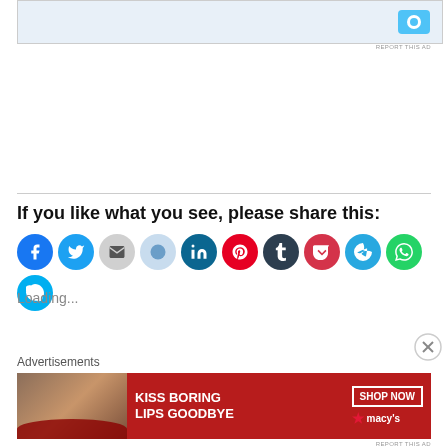[Figure (screenshot): Top advertisement banner with blue icon, light blue background]
REPORT THIS AD
If you like what you see, please share this:
[Figure (infographic): Row of social share buttons: Facebook, Twitter, Email, Reddit, LinkedIn, Pinterest, Tumblr, Pocket, Telegram, WhatsApp, Skype]
Loading...
Advertisements
[Figure (photo): Macy's advertisement: KISS BORING LIPS GOODBYE with SHOP NOW button and Macy's star logo, woman with red lips]
REPORT THIS AD